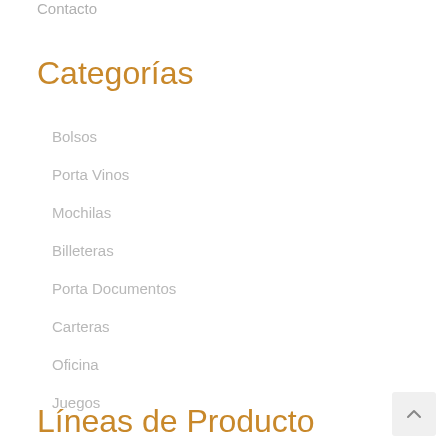Contacto
Categorías
Bolsos
Porta Vinos
Mochilas
Billeteras
Porta Documentos
Carteras
Oficina
Juegos
Líneas de Producto